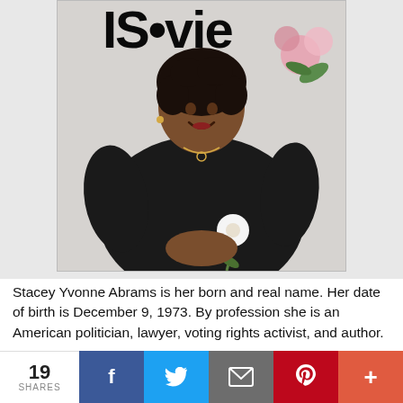[Figure (photo): Magazine cover showing a woman in a black dress holding a white flower, with pink flowers in the background. Large bold magazine logo letters visible at top.]
Stacey Yvonne Abrams is her born and real name. Her date of birth is December 9, 1973. By profession she is an American politician, lawyer, voting rights activist, and author.
19 SHARES | Facebook | Twitter | Email | Pinterest | More